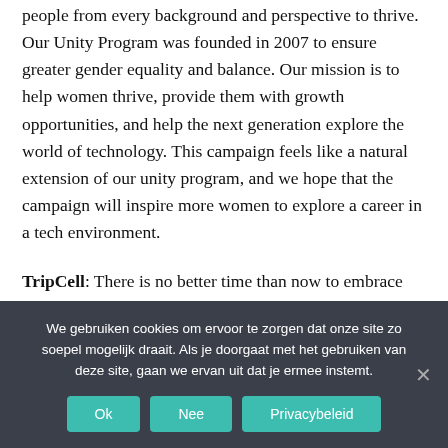people from every background and perspective to thrive. Our Unity Program was founded in 2007 to ensure greater gender equality and balance. Our mission is to help women thrive, provide them with growth opportunities, and help the next generation explore the world of technology. This campaign feels like a natural extension of our unity program, and we hope that the campaign will inspire more women to explore a career in a tech environment.
TripCell: There is no better time than now to embrace and empower feminine energy in today's
We gebruiken cookies om ervoor te zorgen dat onze site zo soepel mogelijk draait. Als je doorgaat met het gebruiken van deze site, gaan we ervan uit dat je ermee instemt.